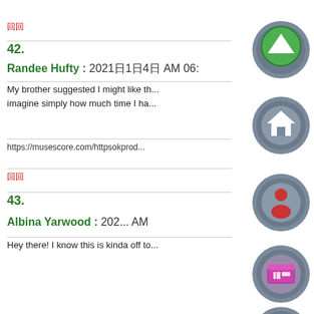回回
42.
Randee Hufty : 2021日1日4日 AM 06:
My brother suggested I might like th... imagine simply how much time I ha...
https://musescore.com/httpsokprod...
回回
43.
Albina Yarwood : 202... AM
Hey there! I know this is kinda off to...